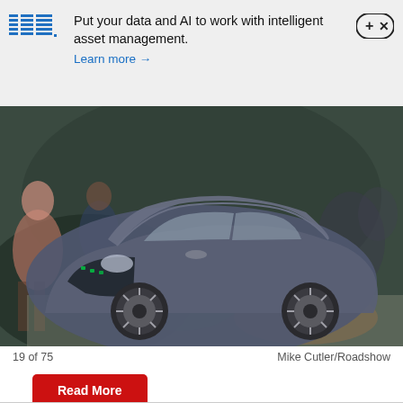[Figure (screenshot): IBM advertisement banner: IBM logo on left, text 'Put your data and AI to work with intelligent asset management. Learn more →', and a +/x icon on the right. Light grey background.]
[Figure (photo): Photo of a dark grey/blue Aston Martin DBX SUV on a stage at a car show, with blurred people in the background.]
19 of 75    Mike Cutler/Roadshow
Read More